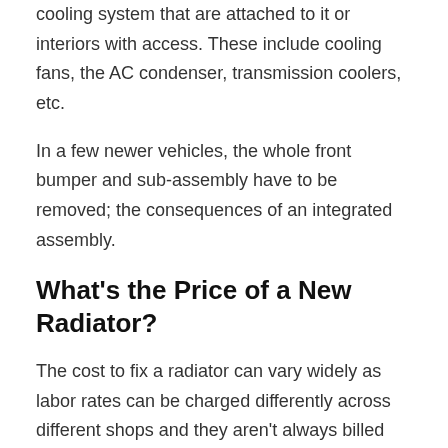cooling system that are attached to it or interiors with access. These include cooling fans, the AC condenser, transmission coolers, etc.
In a few newer vehicles, the whole front bumper and sub-assembly have to be removed; the consequences of an integrated assembly.
What's the Price of a New Radiator?
The cost to fix a radiator can vary widely as labor rates can be charged differently across different shops and they aren't always billed out at book time. Parts prices can also vary considerably depending on the brand, availability, and the mark-up practices of any individual shop.